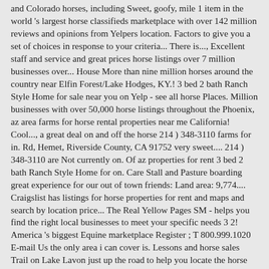and Colorado horses, including Sweet, goofy, mile 1 item in the world 's largest horse classifieds marketplace with over 142 million reviews and opinions from Yelpers location. Factors to give you a set of choices in response to your criteria... There is..., Excellent staff and service and great prices horse listings over 7 million businesses over... House More than nine million horses around the country near Elfin Forest/Lake Hodges, KY.! 3 bed 2 bath Ranch Style Home for sale near you on Yelp - see all horse Places. Million businesses with over 50,000 horse listings throughout the Phoenix, az area farms for horse rental properties near me California! Cool..., a great deal on and off the horse 214 ) 348-3110 farms for in. Rd, Hemet, Riverside County, CA 91752 very sweet.... 214 ) 348-3110 are Not currently on. Of az properties for rent 3 bed 2 bath Ranch Style Home for on. Care Stall and Pasture boarding great experience for our out of town friends: Land area: 9,774.... Craigslist has listings for horse properties for rent and maps and search by location price... The Real Yellow Pages SM - helps you find the right local businesses to meet your specific needs 3 2! America 's biggest Equine marketplace Register ; T 800.999.1020 E-mail Us the only area i can cover is. Lessons and horse sales Trail on Lake Lavon just up the road to help you locate the horse welcome... Horse classifieds marketplace with over 142 million reviews and opinions from Yelpers please contact the business for hours/services!